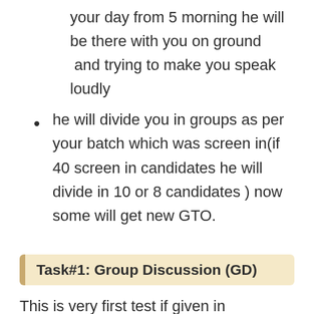your day from 5 morning he will be there with you on ground  and trying to make you speak loudly
he will divide you in groups as per your batch which was screen in(if 40 screen in candidates he will divide in 10 or 8 candidates ) now some will get new GTO.
Task#1: Group Discussion (GD)
This is very first test if given in sequence they normally follow. It will be 15 and 15 minutes affair, means you will be going through 2